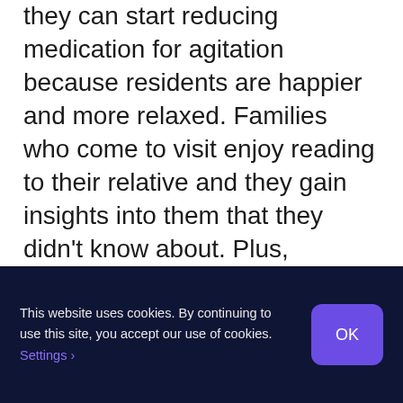they can start reducing medication for agitation because residents are happier and more relaxed. Families who come to visit enjoy reading to their relative and they gain insights into them that they didn't know about. Plus, younger visitors can enjoy reading children's books with their relatives, which can be easier for the person with dementia to understand.
This website uses cookies. By continuing to use this site, you accept our use of cookies. Settings OK